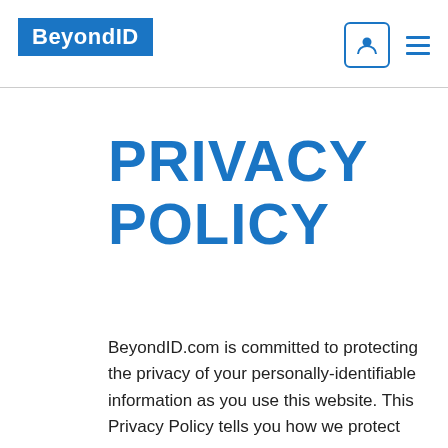BeyondID
PRIVACY POLICY
BeyondID.com is committed to protecting the privacy of your personally-identifiable information as you use this website. This Privacy Policy tells you how we protect